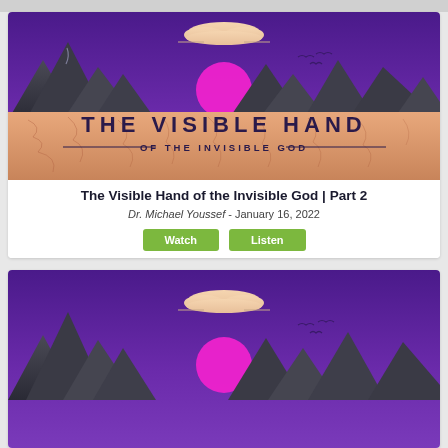[Figure (illustration): Illustrated sermon series graphic: purple gradient sky with mountains, magenta sun, cloud, flying birds, and cracked desert landscape with text 'THE VISIBLE HAND OF THE INVISIBLE GOD']
The Visible Hand of the Invisible God | Part 2
Dr. Michael Youssef - January 16, 2022
Watch   Listen
[Figure (illustration): Partial view of another illustrated sermon series graphic with same style: purple gradient sky, mountains, magenta sun, cloud]